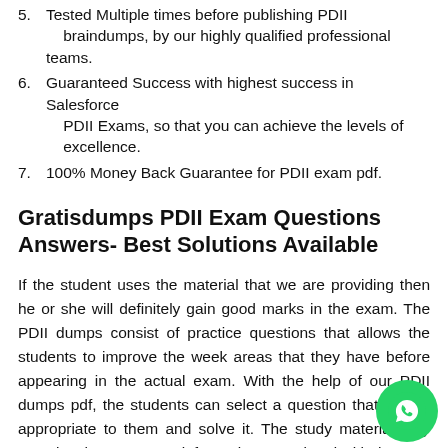5. Tested Multiple times before publishing PDII braindumps, by our highly qualified professional teams.
6. Guaranteed Success with highest success in Salesforce PDII Exams, so that you can achieve the levels of excellence.
7. 100% Money Back Guarantee for PDII exam pdf.
Gratisdumps PDII Exam Questions Answers- Best Solutions Available
If the student uses the material that we are providing then he or she will definitely gain good marks in the exam. The PDII dumps consist of practice questions that allows the students to improve the week areas that they have before appearing in the actual exam. With the help of our PDII dumps pdf, the students can select a question that seems appropriate to them and solve it. The study material only contains the necessary information associated with the PDII Exam questions.